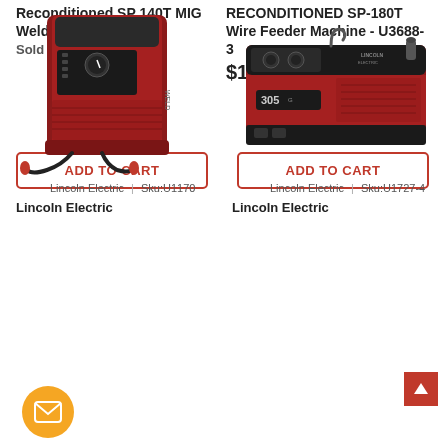Reconditioned SP 140T MIG Welder - U2688-3
Sold Out!
RECONDITIONED SP-180T Wire Feeder Machine - U3688-3
$1,125.00
ADD TO CART
ADD TO CART
[Figure (photo): Red Lincoln Electric MIG welder machine with cables]
[Figure (photo): Red and black Lincoln Electric Ranger 305 engine-driven welder]
Lincoln Electric | Sku:U1170
Lincoln Electric
Lincoln Electric | Sku:U1727-4
Lincoln Electric